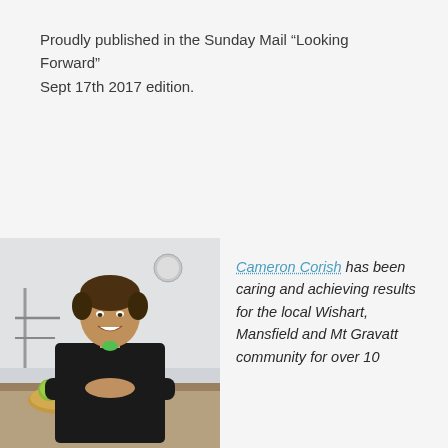Proudly published in the Sunday Mail “Looking Forward” Sept 17th 2017 edition.
[Figure (photo): Portrait photo of Cameron Corish, a man smiling, leaning on a counter with green apples in a bowl, in what appears to be a gym or studio setting.]
Cameron Corish has been caring and achieving results for the local Wishart, Mansfield and Mt Gravatt community for over 10